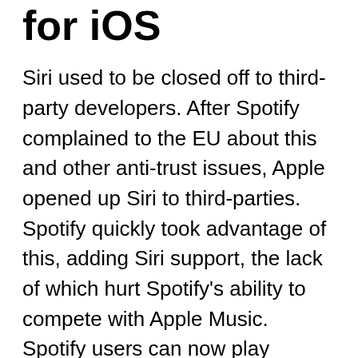for iOS
Siri used to be closed off to third-party developers. After Spotify complained to the EU about this and other anti-trust issues, Apple opened up Siri to third-parties. Spotify quickly took advantage of this, adding Siri support, the lack of which hurt Spotify's ability to compete with Apple Music. Spotify users can now play songs, albums, playlists and issue other Siri commands.
Spotify Intergrates with Data Saving Mode